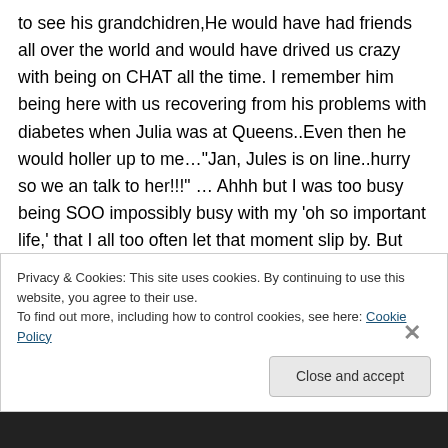to see his grandchidren,He would have had friends all over the world and would have drived us crazy with being on CHAT all the time. I remember him being here with us recovering from his problems with diabetes when Julia was at Queens..Even then he would holler up to me…"Jan, Jules is on line..hurry so we an talk to her!!!" … Ahhh but I was too busy being SOO impossibly busy with my 'oh so important life,' that I all too often let that moment slip by. But my Dad knew what was truly important... the
Privacy & Cookies: This site uses cookies. By continuing to use this website, you agree to their use.
To find out more, including how to control cookies, see here: Cookie Policy